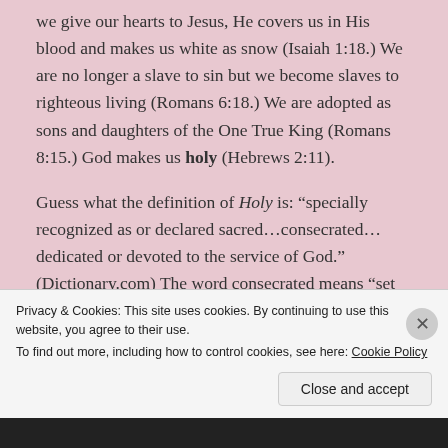we give our hearts to Jesus, He covers us in His blood and makes us white as snow (Isaiah 1:18.) We are no longer a slave to sin but we become slaves to righteous living (Romans 6:18.) We are adopted as sons and daughters of the One True King (Romans 8:15.) God makes us holy (Hebrews 2:11).
Guess what the definition of Holy is: “specially recognized as or declared sacred…consecrated… dedicated or devoted to the service of God.” (Dictionary.com) The word consecrated means “set apart” which God shows us is exactly who we are in
Privacy & Cookies: This site uses cookies. By continuing to use this website, you agree to their use.
To find out more, including how to control cookies, see here: Cookie Policy
Close and accept